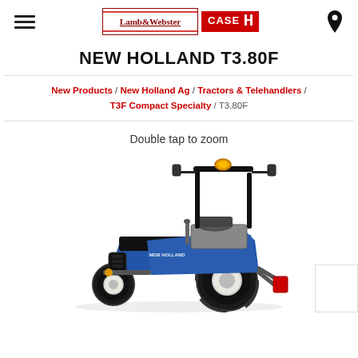Lamb & Webster | CASE IH Agriculture
NEW HOLLAND T3.80F
New Products / New Holland Ag / Tractors & Telehandlers / T3F Compact Specialty / T3.80F
Double tap to zoom
[Figure (photo): Blue New Holland T3.80F compact specialty tractor with ROPS frame, amber beacon light on top, side mirrors, black hood and body panels, white rear wheels, photographed on white background with product image showing front-right three-quarter view.]